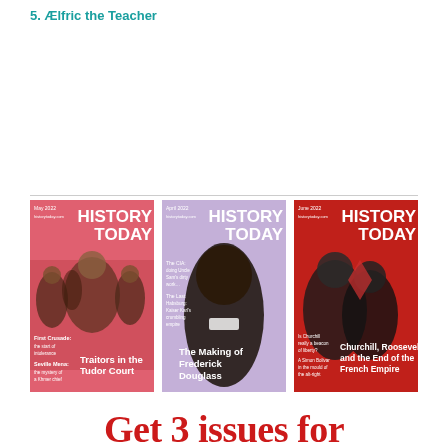5. Ælfric the Teacher
[Figure (illustration): Three History Today magazine covers side by side. Left cover (pink/red): 'HISTORY TODAY' title with Tudor figures, headline 'Traitors in the Tudor Court'. Middle cover (lavender/purple): 'HISTORY TODAY' title with portrait of Frederick Douglass, headline 'The Making of Frederick Douglass', side text about CIA and Kaiser Karl. Right cover (red): 'HISTORY TODAY' title with Churchill and Roosevelt photo, headline 'Churchill, Roosevelt and the End of the French Empire'.]
Get 3 issues for